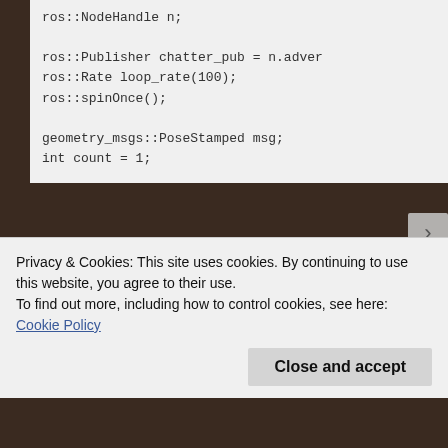ros::NodeHandle n;

ros::Publisher chatter_pub = n.adver
ros::Rate loop_rate(100);
ros::spinOnce();

geometry_msgs::PoseStamped msg;
int count = 1;

        //PositionReciever qp;:
        //Body some_object;
        //qp.connect_to_server(


while(ros::ok()){
Privacy & Cookies: This site uses cookies. By continuing to use this website, you agree to their use.
To find out more, including how to control cookies, see here: Cookie Policy